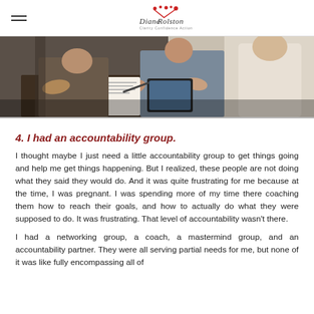Diane Rolston – Clarity Confidence Action
[Figure (photo): People sitting around a table writing and discussing documents, business meeting scene]
4. I had an accountability group.
I thought maybe I just need a little accountability group to get things going and help me get things happening. But I realized, these people are not doing what they said they would do. And it was quite frustrating for me because at the time, I was pregnant. I was spending more of my time there coaching them how to reach their goals, and how to actually do what they were supposed to do. It was frustrating. That level of accountability wasn't there.
I had a networking group, a coach, a mastermind group, and an accountability partner. They were all serving partial needs for me, but none of it was like fully encompassing all of